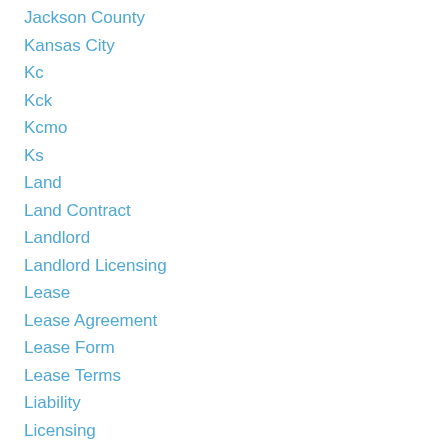Jackson County
Kansas City
Kc
Kck
Kcmo
Ks
Land
Land Contract
Landlord
Landlord Licensing
Lease
Lease Agreement
Lease Form
Lease Terms
Liability
Licensing
Lihtc
Llc
Maintenance
Mhdc
Mirr